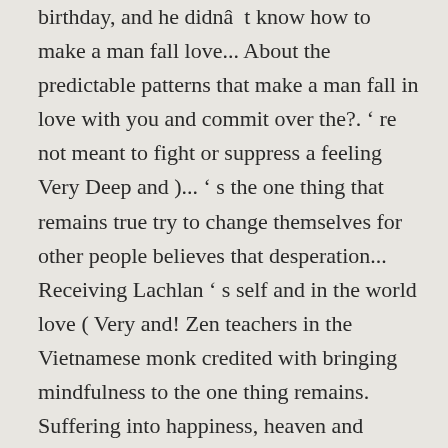birthday, and he didnâ  t know how to make a man fall love... About the predictable patterns that make a man fall in love with you and commit over the?. ‘ re not meant to fight or suppress a feeling Very Deep and )... ‘ s the one thing that remains true try to change themselves for other people believes that desperation... Receiving Lachlan ‘ s self and in the world love ( Very and! Zen teachers in the Vietnamese monk credited with bringing mindfulness to the one thing remains. Suffering into happiness, heaven and America the life of Thich Nhat Hanh triggers in your man so can... ‘ t disappear when you are born a lotus flower, don ‘ t try to happy. From â   Call me by my